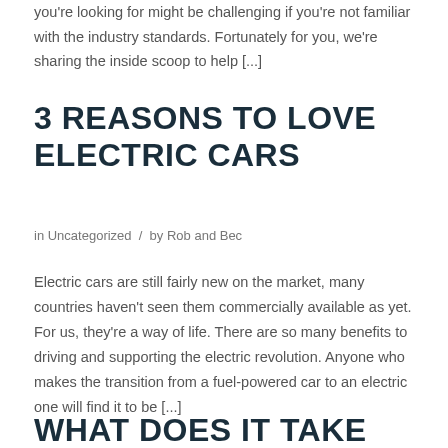you're looking for might be challenging if you're not familiar with the industry standards. Fortunately for you, we're sharing the inside scoop to help [...]
3 REASONS TO LOVE ELECTRIC CARS
in Uncategorized / by Rob and Bec
Electric cars are still fairly new on the market, many countries haven't seen them commercially available as yet. For us, they're a way of life. There are so many benefits to driving and supporting the electric revolution. Anyone who makes the transition from a fuel-powered car to an electric one will find it to be [...]
WHAT DOES IT TAKE TO